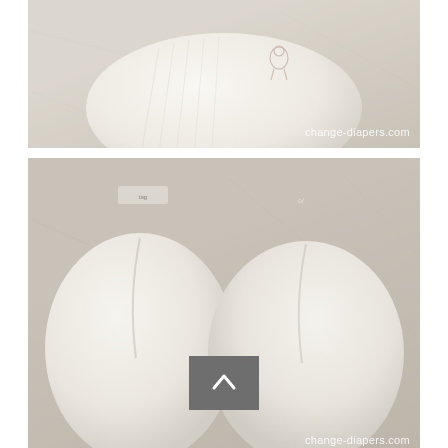[Figure (photo): Close-up photo of white fabric baby bootie laid on a granite countertop, showing ribbed texture and small decorative print. Watermark: change-diapers.com]
[Figure (photo): Photo showing two white fabric baby booties side by side on granite countertop, showing the sole/toe area with visible seams and cuffs. Watermark: change-diapers.com]
The booties have the same cute print, and have a cuff to help keep them on.